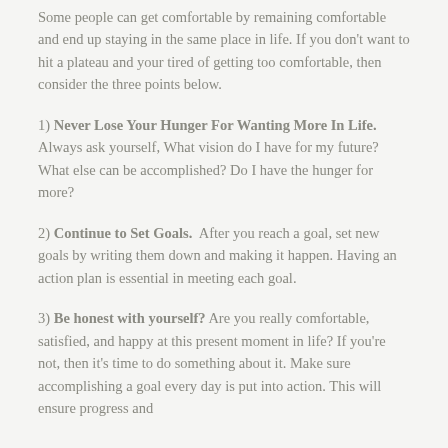Some people can get comfortable by remaining comfortable and end up staying in the same place in life. If you don't want to hit a plateau and your tired of getting too comfortable, then consider the three points below.
1) Never Lose Your Hunger For Wanting More In Life. Always ask yourself, What vision do I have for my future? What else can be accomplished? Do I have the hunger for more?
2) Continue to Set Goals. After you reach a goal, set new goals by writing them down and making it happen. Having an action plan is essential in meeting each goal.
3) Be honest with yourself? Are you really comfortable, satisfied, and happy at this present moment in life? If you're not, then it's time to do something about it. Make sure accomplishing a goal every day is put into action. This will ensure progress and